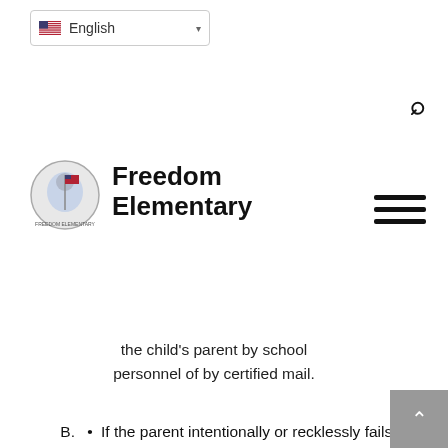English (language selector)
Freedom Elementary
the child's parent by school personnel of by certified mail.
B. If the parent intentionally or recklessly fails to meet with school authorities designated in the Notice of Compulsory Education Violation, or fails to prevent the child from being absent without a valid excuse (truant) 5 or more times (these are in addition to the original 5 truancies) during the remainder of the school year, a District Coordinator shall report the violation to the county or district attorney and notify parents.